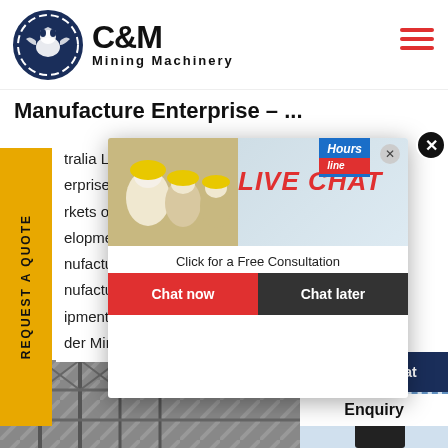[Figure (logo): C&M Mining Machinery logo with eagle in gear circle and company name]
Manufacture Enterprise - ...
tralia Leader Mining Equipment Manufacture Enterprise, ...rkets on ...elopme... nufactu... nufacturers aem australia leader ...ipment manufacture enterprise... der Mining Equipment Manufac...
[Figure (infographic): Live Chat popup overlay with workers in hard hats, LIVE CHAT header in red italic, Click for a Free Consultation text, Chat now and Chat later buttons]
[Figure (photo): Industrial/mining structure photo at bottom left]
[Figure (photo): Woman with headset customer service representative on right side with Click to Chat button and Enquiry text]